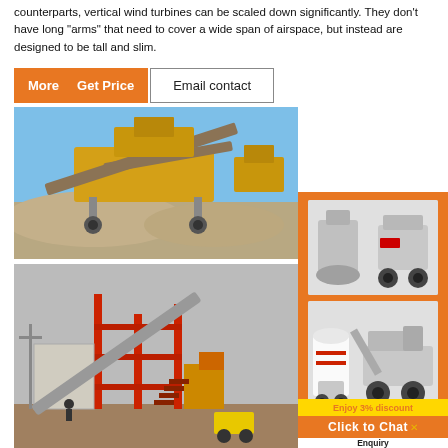counterparts, vertical wind turbines can be scaled down significantly. They don’t have long “arms” that need to cover a wide span of airspace, but instead are designed to be tall and slim.
[Figure (other): Orange button row with 'More', 'Get Price' in orange, and 'Email contact' in white bordered button]
[Figure (photo): Outdoor industrial photo of a large yellow crushing/screening plant with conveyor belts over gravel piles, blue sky background]
[Figure (photo): Industrial construction site with red steel structure, pipes, and machinery, overcast sky]
[Figure (infographic): Orange sidebar panel showing two machine images (crusher and screening equipment), a yellow 'Enjoy 3% discount' bar, an orange 'Click to Chat' bar, and a white 'Enquiry' section]